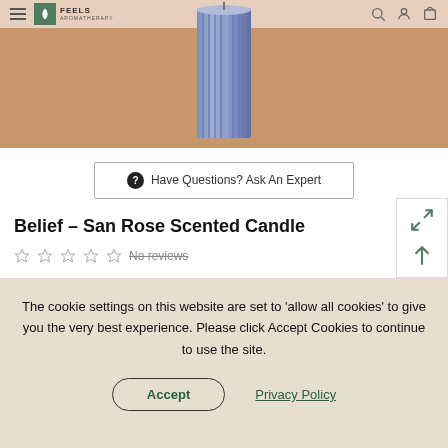[Figure (screenshot): Website screenshot showing a product page for 'Belief – San Rose Scented Candle' with a blue ribbed candle on a tan/brown background, navigation bar with hamburger menu and brand logo 'FEELS', search icon, user icon, and cart icon at top. Below the image is a 'Have Questions? Ask An Expert' button, the product title, five empty star rating icons with 'No reviews' text, and a cookie consent banner overlay at the bottom reading 'The cookie settings on this website are set to allow all cookies to give you the very best experience. Please click Accept Cookies to continue to use the site.' with Accept and Privacy Policy buttons.]
Have Questions? Ask An Expert
Belief – San Rose Scented Candle
No reviews
The cookie settings on this website are set to 'allow all cookies' to give you the very best experience. Please click Accept Cookies to continue to use the site.
Accept
Privacy Policy